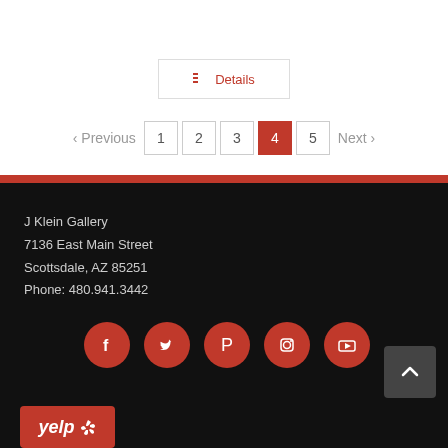[Figure (screenshot): Details button with red icon and border]
[Figure (screenshot): Pagination control showing Previous, pages 1-5 with page 4 active in red, Next]
J Klein Gallery
7136 East Main Street
Scottsdale, AZ 85251
Phone: 480.941.3442
[Figure (infographic): Social media icons: Facebook, Twitter, Pinterest, Instagram, YouTube — all red circles with white icons]
[Figure (logo): Yelp button logo in red]
[Figure (other): Back to top button with upward chevron arrow]